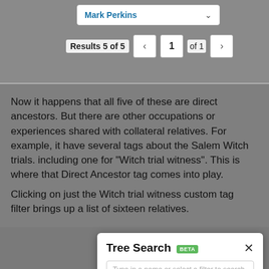[Figure (screenshot): Top UI bar showing 'Mark Perkins' dropdown and pagination 'Results 5 of 5' with page 1 of 1 navigation buttons]
Now it happens that all five of these are direct ancestors. But there are other occupations or experiences shared with collateral relatives. For example, it have several tags about the Salem Witch trials. including one for "Witch trial witness". This is where that Direct Ancestor tag comes into play.
Clicking on just the Witch trial witness custom tag  filter brings up a list of sixteen relatives.
[Figure (screenshot): Tree Search BETA dialog with search input 'Type in a name or select a filter to search', a tag 'Witch trial witness X', and a Filters button at bottom]